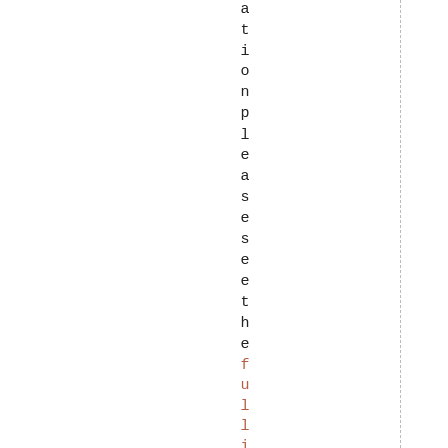ationpleaseseethe fullinvitation